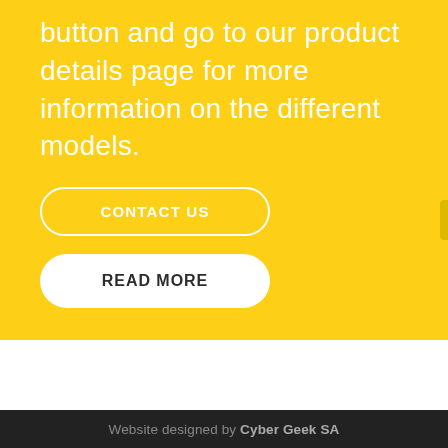button and go to our product details page for more information on the different models.
CONTACT US
READ MORE
Website designed by Cyber Geek SA